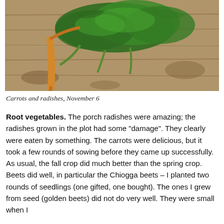[Figure (photo): A photograph of carrots and radishes with leafy green tops laid on a wooden surface, viewed from above.]
Carrots and radishes, November 6
Root vegetables. The porch radishes were amazing; the radishes grown in the plot had some "damage". They clearly were eaten by something. The carrots were delicious, but it took a few rounds of sowing before they came up successfully. As usual, the fall crop did much better than the spring crop. Beets did well, in particular the Chiogga beets – I planted two rounds of seedlings (one gifted, one bought). The ones I grew from seed (golden beets) did not do very well. They were small when I